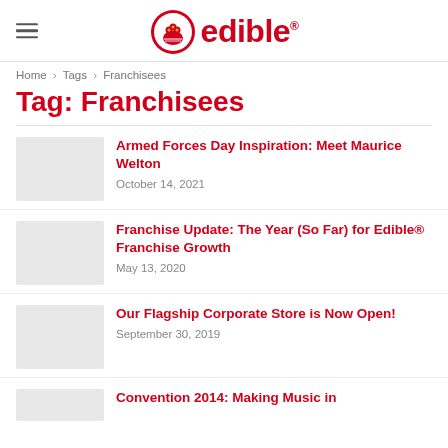edible (logo)
Home › Tags › Franchisees
Tag: Franchisees
Armed Forces Day Inspiration: Meet Maurice Welton
October 14, 2021
Franchise Update: The Year (So Far) for Edible® Franchise Growth
May 13, 2020
Our Flagship Corporate Store is Now Open!
September 30, 2019
Convention 2014: Making Music in